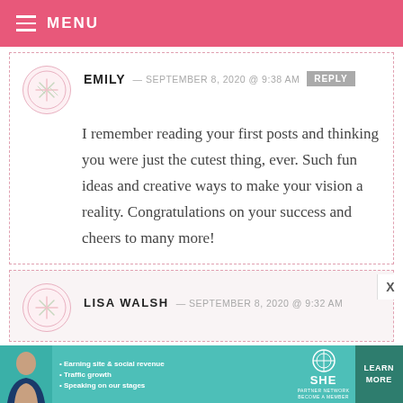MENU
EMILY — SEPTEMBER 8, 2020 @ 9:38 AM REPLY
I remember reading your first posts and thinking you were just the cutest thing, ever. Such fun ideas and creative ways to make your vision a reality. Congratulations on your success and cheers to many more!
LISA WALSH — SEPTEMBER 8, 2020 @ 9:32 AM
[Figure (infographic): SHE Partner Network advertisement banner with photo of woman, bullet points about earning site & social revenue, traffic growth, speaking on our stages, SHE logo, and LEARN MORE button]